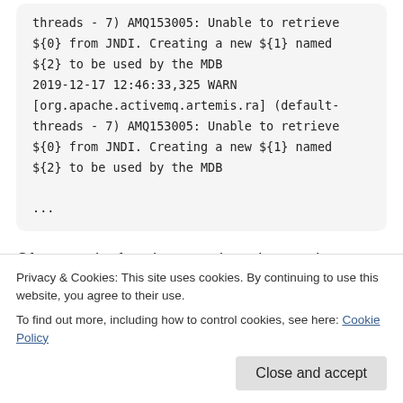threads - 7) AMQ153005: Unable to retrieve ${0} from JNDI. Creating a new ${1} named ${2} to be used by the MDB
2019-12-17 12:46:33,325 WARN [org.apache.activemq.artemis.ra] (default-threads - 7) AMQ153005: Unable to retrieve ${0} from JNDI. Creating a new ${1} named ${2} to be used by the MDB
...
Of course the fact that somehow the warning message
Privacy & Cookies: This site uses cookies. By continuing to use this website, you agree to their use.
To find out more, including how to control cookies, see here: Cookie Policy